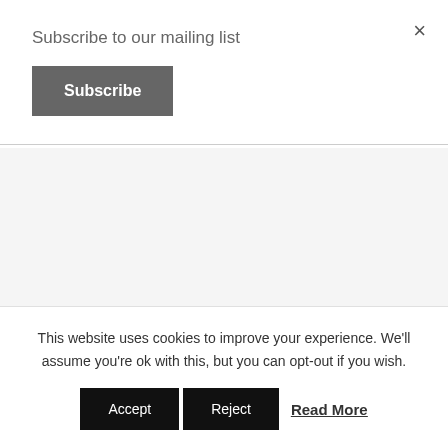×
Subscribe to our mailing list
Subscribe
About Me & Contributors    Media Kit/Advertise
This website uses cookies to improve your experience. We'll assume you're ok with this, but you can opt-out if you wish.
Accept
Reject
Read More